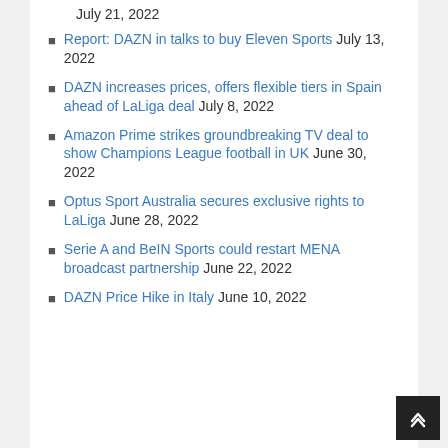July 21, 2022
Report: DAZN in talks to buy Eleven Sports July 13, 2022
DAZN increases prices, offers flexible tiers in Spain ahead of LaLiga deal July 8, 2022
Amazon Prime strikes groundbreaking TV deal to show Champions League football in UK June 30, 2022
Optus Sport Australia secures exclusive rights to LaLiga June 28, 2022
Serie A and BeIN Sports could restart MENA broadcast partnership June 22, 2022
DAZN Price Hike in Italy June 10, 2022